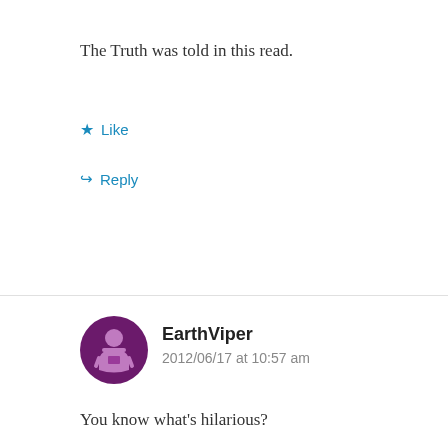The Truth was told in this read.
Like
Reply
EarthViper
2012/06/17 at 10:57 am
You know what's hilarious?
Games like Mario Paint, Game & Watch, Pokemon Snap, Pilotwings and many more are remembered fondly today by the very same kinds of people who resent the existence of games like Brain Age, Wii Sports and Nintendo